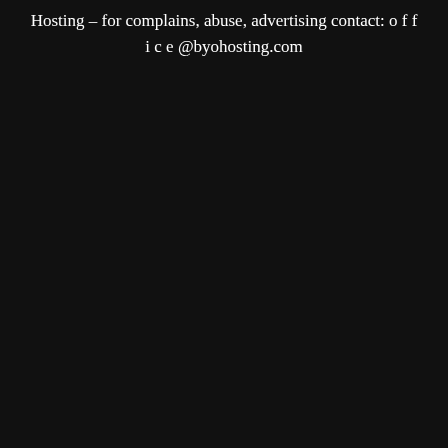Hosting – for complains, abuse, advertising contact: o f f i c e @byohosting.com